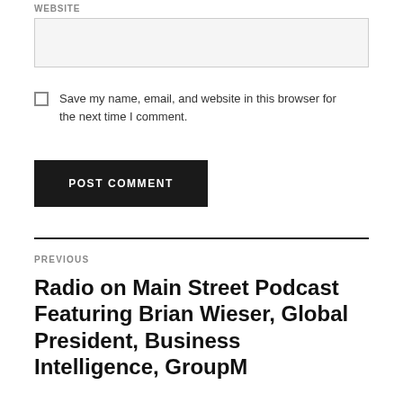WEBSITE
[Figure (other): Empty text input field for website URL]
Save my name, email, and website in this browser for the next time I comment.
POST COMMENT
PREVIOUS
Radio on Main Street Podcast Featuring Brian Wieser, Global President, Business Intelligence, GroupM